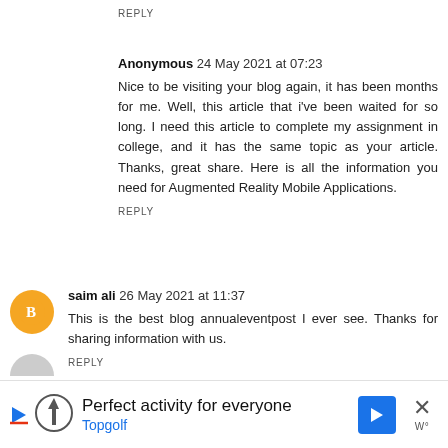REPLY
Anonymous 24 May 2021 at 07:23
Nice to be visiting your blog again, it has been months for me. Well, this article that i've been waited for so long. I need this article to complete my assignment in college, and it has the same topic as your article. Thanks, great share. Here is all the information you need for Augmented Reality Mobile Applications.
REPLY
saim ali 26 May 2021 at 11:37
This is the best blog annualeventpost I ever see. Thanks for sharing information with us.
REPLY
[Figure (infographic): Advertisement banner for Topgolf: 'Perfect activity for everyone' with Topgolf logo, blue navigation arrow icon, and close button]